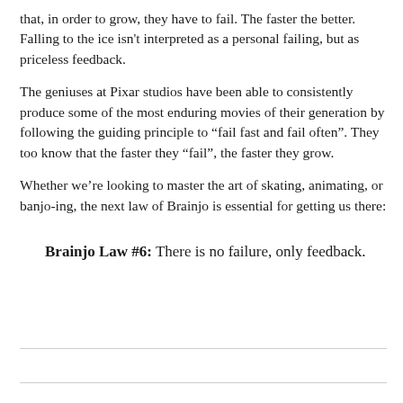that, in order to grow, they have to fail. The faster the better. Falling to the ice isn't interpreted as a personal failing, but as priceless feedback.
The geniuses at Pixar studios have been able to consistently produce some of the most enduring movies of their generation by following the guiding principle to “fail fast and fail often”. They too know that the faster they “fail”, the faster they grow.
Whether we’re looking to master the art of skating, animating, or banjo-ing, the next law of Brainjo is essential for getting us there:
Brainjo Law #6: There is no failure, only feedback.